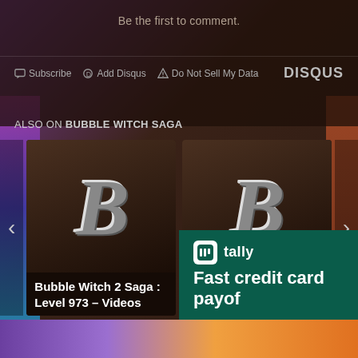Be the first to comment.
Subscribe  Add Disqus  Do Not Sell My Data   DISQUS
ALSO ON BUBBLE WITCH SAGA
Bubble Witch 2 Saga : Level 973 – Videos
Bubble Witch 2 Saga : Level 431 – Vi…
[Figure (screenshot): Tally banner advertisement with dark green background, Tally logo icon, and text 'tally' with tagline 'Fast credit card payof']
[Figure (screenshot): Bottom strip with colorful character art from Bubble Witch Saga game]